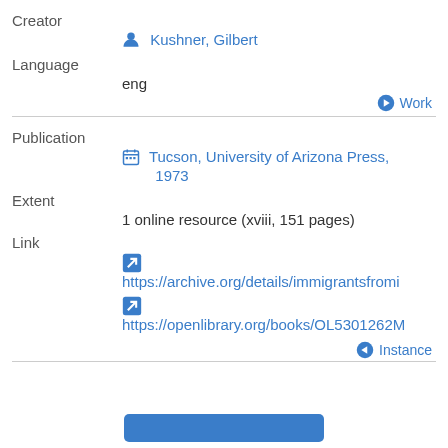Creator
Kushner, Gilbert
Language
eng
Work
Publication
Tucson, University of Arizona Press, 1973
Extent
1 online resource (xviii, 151 pages)
Link
https://archive.org/details/immigrantsfromi
https://openlibrary.org/books/OL5301262M
Instance